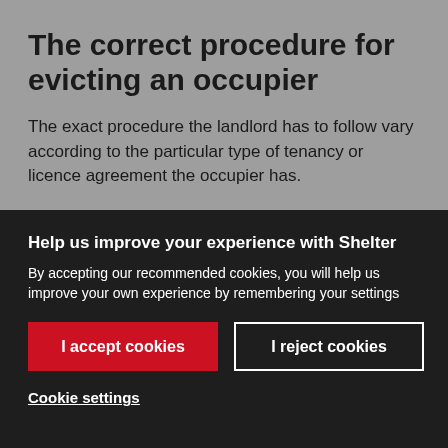The correct procedure for evicting an occupier
The exact procedure the landlord has to follow vary according to the particular type of tenancy or licence agreement the occupier has.
Help us improve your experience with Shelter
By accepting our recommended cookies, you will help us improve your own experience by remembering your settings
I accept cookies
I reject cookies
Cookie settings